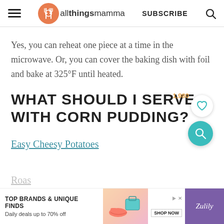allthingsmamma  SUBSCRIBE
Yes, you can reheat one piece at a time in the microwave. Or, you can cover the baking dish with foil and bake at 325°F until heated.
WHAT SHOULD I SERVE WITH CORN PUDDING?
Easy Cheesy Potatoes
Roas
[Figure (infographic): Zulily advertisement banner: TOP BRANDS & UNIQUE FINDS, Daily deals up to 70% off, SHOP NOW button, product images of shoes and bag, Zulily logo]